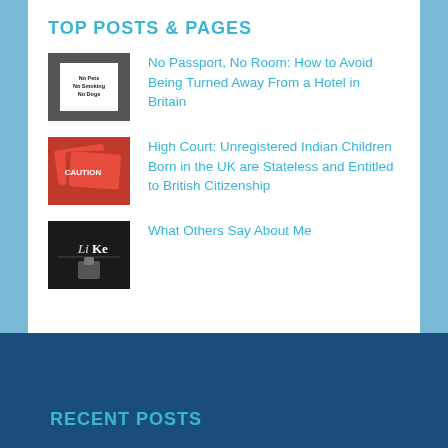TOP POSTS & PAGES
No Passport, No Room: How to Avoid Being Turned Away From a Hotel in Britain
High Court: Unregistered Indian Children Born in the UK are Stateless and Entitled to British Citizenship
What Others Say About Me
RECENT POSTS